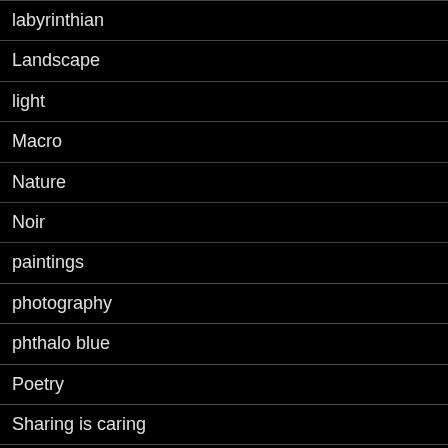labyrinthian
Landscape
light
Macro
Nature
Noir
paintings
photography
phthalo blue
Poetry
Sharing is caring
small in size
smalt blue